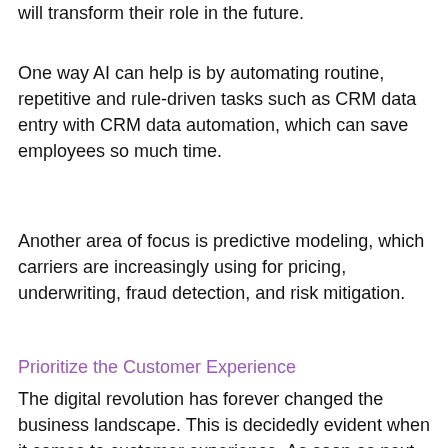will transform their role in the future.
One way AI can help is by automating routine, repetitive and rule-driven tasks such as CRM data entry with CRM data automation, which can save employees so much time.
Another area of focus is predictive modeling, which carriers are increasingly using for pricing, underwriting, fraud detection, and risk mitigation.
Prioritize the Customer Experience
The digital revolution has forever changed the business landscape. This is decidedly evident when it comes to customer experience. As soon as next